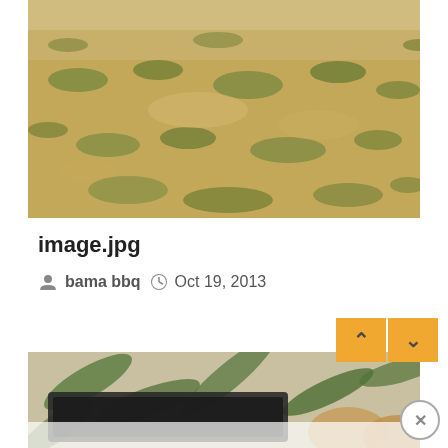[Figure (photo): Outdoor photo of dry patchy grass lawn with brownish-yellow and green coloring, taken in daylight]
image.jpg
bama bbq  Oct 19, 2013
[Figure (photo): Partial photo showing a baking pan with food items and tropical leaf wallpaper background, partially obscured by navigation overlay]